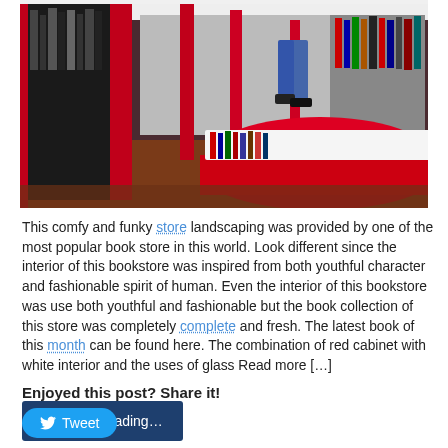[Figure (photo): Interior of a modern bookstore with red display cabinets/shelves, wooden floor, and books on shelves. A person walking is partially visible in the background.]
This comfy and funky store landscaping was provided by one of the most popular book store in this world. Look different since the interior of this bookstore was inspired from both youthful character and fashionable spirit of human. Even the interior of this bookstore was use both youthful and fashionable but the book collection of this store was completely complete and fresh. The latest book of this month can be found here. The combination of red cabinet with white interior and the uses of glass Read more […]
Continue reading…
Enjoyed this post? Share it!
Tweet